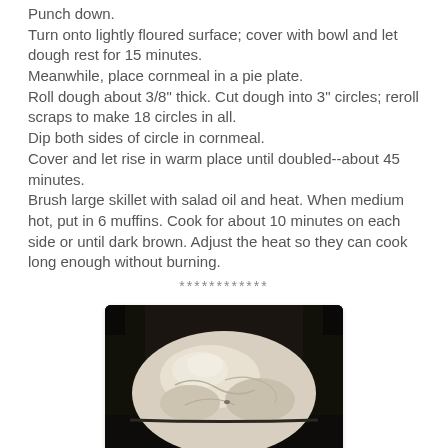Punch down.
Turn onto lightly floured surface; cover with bowl and let dough rest for 15 minutes.
Meanwhile, place cornmeal in a pie plate.
Roll dough about 3/8" thick. Cut dough into 3" circles; reroll scraps to make 18 circles in all.
Dip both sides of circle in cornmeal.
Cover and let rise in warm place until doubled--about 45 minutes.
Brush large skillet with salad oil and heat. When medium hot, put in 6 muffins. Cook for about 10 minutes on each side or until dark brown. Adjust the heat so they can cook long enough without burning.
************
[Figure (photo): A ball of raw bread dough in a dark baking pan or bread machine bucket, viewed from above. The dough is pale/cream colored and sits in a dark container.]